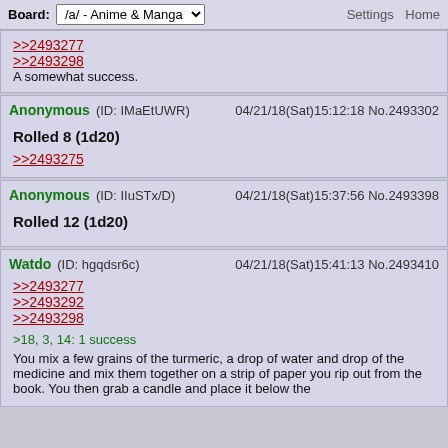Board: /a/ - Anime & Manga   Settings   Home
>>2493277
>>2493298
A somewhat success.
Anonymous (ID: IMaEtUWR)  04/21/18(Sat)15:12:18 No.2493302
Rolled 8 (1d20)
>>2493275
Anonymous (ID: IIuSTx/D)  04/21/18(Sat)15:37:56 No.2493398
Rolled 12 (1d20)
Watdo (ID: hgqdsr6c)  04/21/18(Sat)15:41:13 No.2493410
>>2493277
>>2493292
>>2493298
>18, 3, 14: 1 success
You mix a few grains of the turmeric, a drop of water and drop of the medicine and mix them together on a strip of paper you rip out from the book. You then grab a candle and place it below the